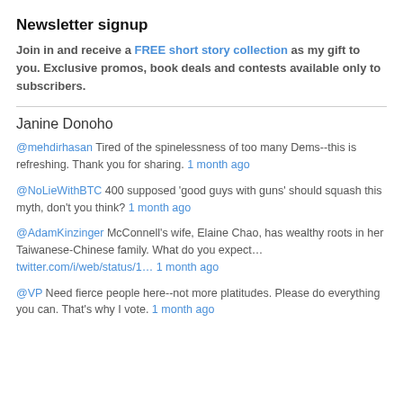Newsletter signup
Join in and receive a FREE short story collection as my gift to you. Exclusive promos, book deals and contests available only to subscribers.
Janine Donoho
@mehdirhasan Tired of the spinelessness of too many Dems--this is refreshing. Thank you for sharing. 1 month ago
@NoLieWithBTC 400 supposed 'good guys with guns' should squash this myth, don't you think? 1 month ago
@AdamKinzinger McConnell's wife, Elaine Chao, has wealthy roots in her Taiwanese-Chinese family. What do you expect… twitter.com/i/web/status/1… 1 month ago
@VP Need fierce people here--not more platitudes. Please do everything you can. That's why I vote. 1 month ago